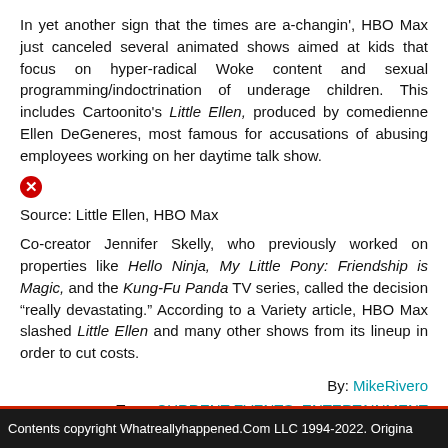In yet another sign that the times are a-changin', HBO Max just canceled several animated shows aimed at kids that focus on hyper-radical Woke content and sexual programming/indoctrination of underage children. This includes Cartoonito's Little Ellen, produced by comedienne Ellen DeGeneres, most famous for accusations of abusing employees working on her daytime talk show.
[Figure (other): Red circle with white X error icon]
Source: Little Ellen, HBO Max
Co-creator Jennifer Skelly, who previously worked on properties like Hello Ninja, My Little Pony: Friendship is Magic, and the Kung-Fu Panda TV series, called the decision “really devastating.” According to a Variety article, HBO Max slashed Little Ellen and many other shows from its lineup in order to cut costs.
By: MikeRivero
Tags: CURRENT EVENTS, ENTERTAINMENT
Posted on: Aug 24 15:15
Contents copyright WhatreallyhappenedCom LLC 1994-2022. Origina